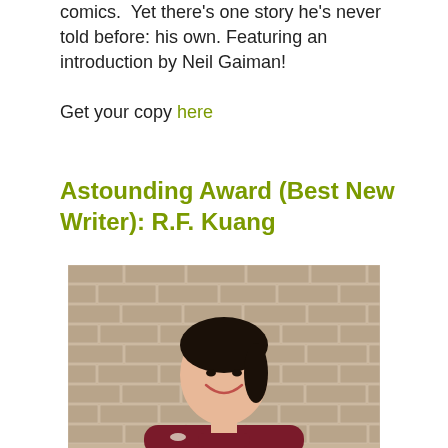comics.  Yet there's one story he's never told before: his own. Featuring an introduction by Neil Gaiman!
Get your copy here
Astounding Award (Best New Writer): R.F. Kuang
[Figure (photo): A young Asian woman with dark hair pulled back, wearing a dark red turtleneck sweater, smiling and leaning forward with arms crossed on a table. Background is a brick wall.]